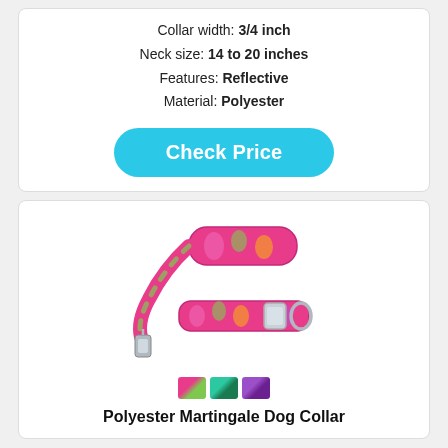Collar width: 3/4 inch
Neck size: 14 to 20 inches
Features: Reflective
Material: Polyester
Check Price
[Figure (photo): Pink paisley patterned dog collar and leash set with silver hardware]
[Figure (photo): Three color swatch options: pink/green paisley, teal/green paisley, purple paisley]
Polyester Martingale Dog Collar